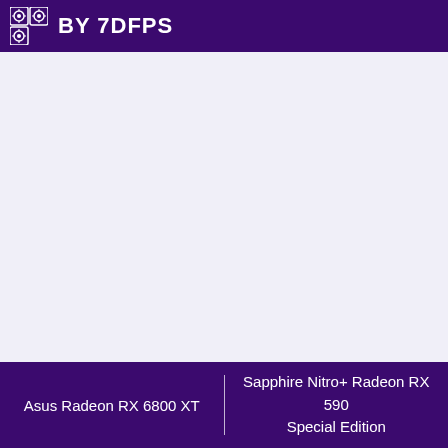BY 7DFPS
Asus Radeon RX 6800 XT | Sapphire Nitro+ Radeon RX 590 Special Edition